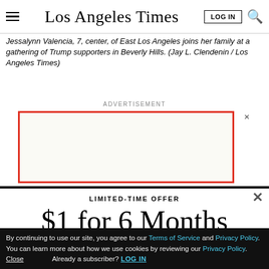Los Angeles Times - LOG IN
Jessalynn Valencia, 7, center, of East Los Angeles joins her family at a gathering of Trump supporters in Beverly Hills. (Jay L. Clendenin / Los Angeles Times)
ADVERTISEMENT
[Figure (other): Advertisement placeholder box with red border]
LIMITED-TIME OFFER
$1 for 6 Months
SUBSCRIBE NOW
By continuing to use our site, you agree to our Terms of Service and Privacy Policy. You can learn more about how we use cookies by reviewing our Privacy Policy. Close Already a subscriber? LOG IN